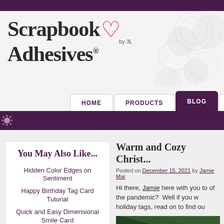[Figure (screenshot): Scrapbook Adhesives by 3L logo with pink heart]
HOME | PRODUCTS | BLOG | RETA...
[Figure (illustration): Purple lace decorative band]
You May Also Like...
Hidden Color Edges on Sentiment
Happy Birthday Tag Card Tutorial
Quick and Easy Dimensional Smile Card
Thanks You Made My Day Card
Foiled Bird Birthday Card
SIGN UP FOR OUR NEWSLETTER!
Warm and Cozy Christ...
Posted on December 15, 2021 by Jamie Mar...
Hi there, Jamie here with you to... of the pandemic?  Well if you w... holiday tags, read on to find ou...
[Figure (photo): Close-up photo of pine/evergreen branches]